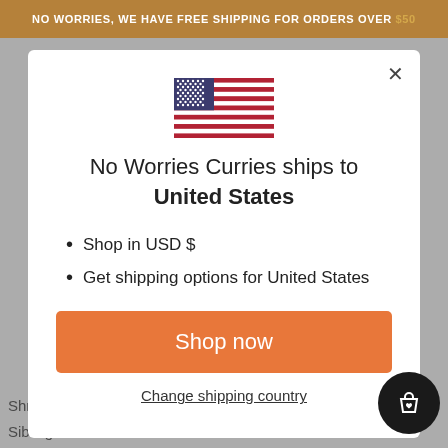NO WORRIES, WE HAVE FREE SHIPPING FOR ORDERS OVER $50
[Figure (illustration): US flag SVG illustration]
No Worries Curries ships to United States
Shop in USD $
Get shipping options for United States
Shop now
Change shipping country
Shravan
Sibling Love